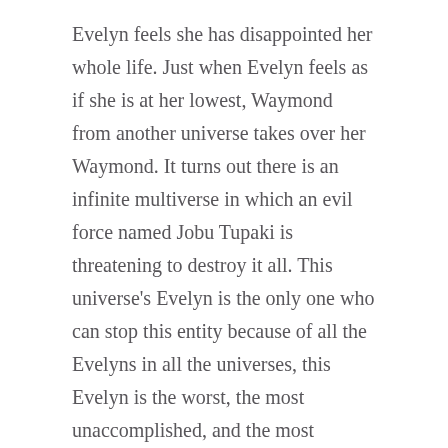Evelyn feels she has disappointed her whole life. Just when Evelyn feels as if she is at her lowest, Waymond from another universe takes over her Waymond. It turns out there is an infinite multiverse in which an evil force named Jobu Tupaki is threatening to destroy it all. This universe's Evelyn is the only one who can stop this entity because of all the Evelyns in all the universes, this Evelyn is the worst, the most unaccomplished, and the most mediocre.
What follows is a kaleidoscopic journey in which Evelyn learns how to access the skills and talents of herself in other universes. It turns out that with small choices, Evelyn could have been a Michelle Yeoh-type movie star, a Hibachi chef, a scientist, and a woman with hot dog fingers. In jumping from universe to